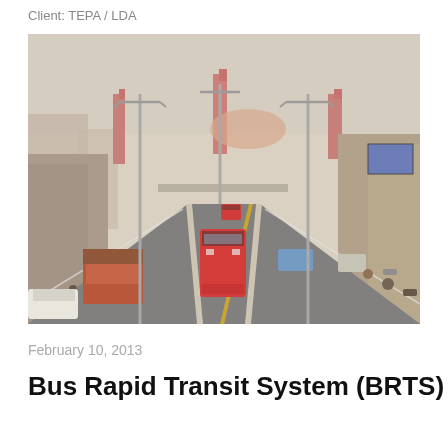Client: TEPA / LDA
[Figure (photo): Street-level photograph of a Bus Rapid Transit (BRT) corridor in Lahore, Pakistan, showing a dedicated central lane with red BRT buses travelling towards the camera, heavy mixed traffic on both sides, street lighting poles, and the Badshahi Mosque and Lahore Fort visible in the background.]
February 10, 2013
Bus Rapid Transit System (BRTS)